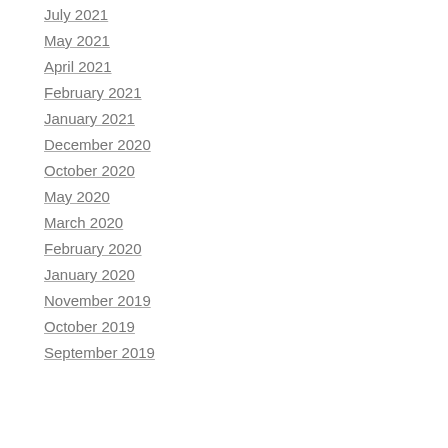July 2021
May 2021
April 2021
February 2021
January 2021
December 2020
October 2020
May 2020
March 2020
February 2020
January 2020
November 2019
October 2019
September 2019